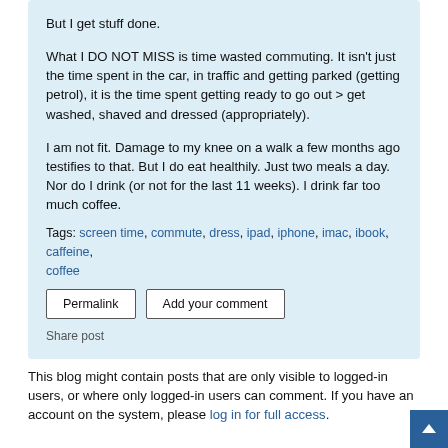But I get stuff done.
What I DO NOT MISS is time wasted commuting. It isn't just the time spent in the car, in traffic and getting parked (getting petrol), it is the time spent getting ready to go out > get washed, shaved and dressed (appropriately).
I am not fit. Damage to my knee on a walk a few months ago testifies to that. But I do eat healthily. Just two meals a day. Nor do I drink (or not for the last 11 weeks). I drink far too much coffee.
Tags: screen time, commute, dress, ipad, iphone, imac, ibook, caffeine, coffee
Permalink  Add your comment
Share post
This blog might contain posts that are only visible to logged-in users, or where only logged-in users can comment. If you have an account on the system, please log in for full access.